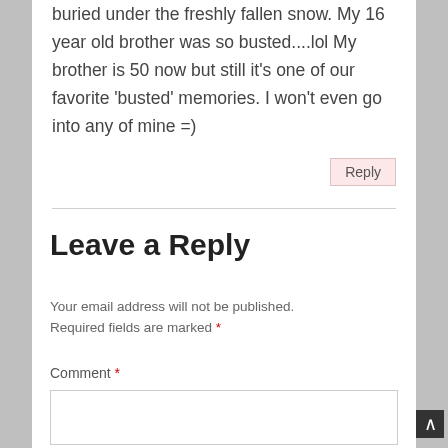buried under the freshly fallen snow. My 16 year old brother was so busted....lol My brother is 50 now but still it’s one of our favorite ‘busted’ memories. I won't even go into any of mine =)
Reply
Leave a Reply
Your email address will not be published. Required fields are marked *
Comment *